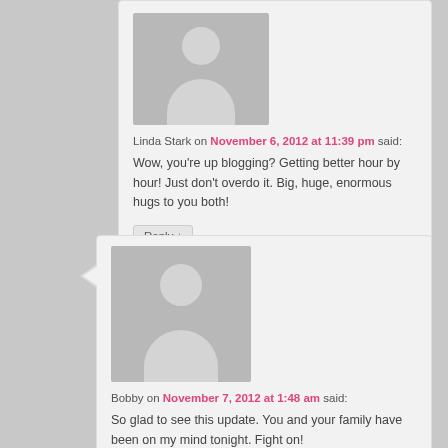[Figure (illustration): User avatar placeholder with gray background, silhouette of a person (head and shoulders)]
Linda Stark on November 6, 2012 at 11:39 pm said:
Wow, you're up blogging? Getting better hour by hour! Just don't overdo it. Big, huge, enormous hugs to you both!
Reply ↓
[Figure (illustration): User avatar placeholder with gray background, silhouette of a person (head and shoulders)]
Bobby on November 7, 2012 at 1:48 am said:
So glad to see this update. You and your family have been on my mind tonight. Fight on!
Reply ↓